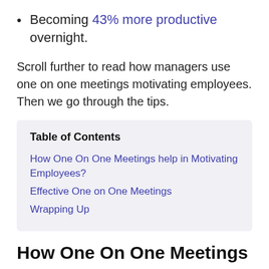Becoming 43% more productive overnight.
Scroll further to read how managers use one on one meetings motivating employees. Then we go through the tips.
| Table of Contents |
| --- |
| How One On One Meetings help in Motivating Employees? |
| Effective One on One Meetings |
| Wrapping Up |
How One On One Meetings